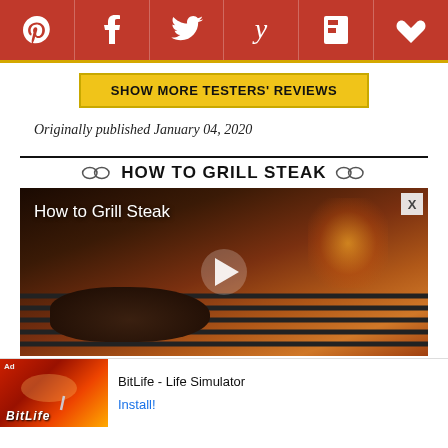[Figure (other): Social media sharing bar with icons: Pinterest, Facebook, Twitter, Yummly, Flipboard, Heart/Save — white icons on dark red background with gold bottom border]
SHOW MORE TESTERS' REVIEWS
Originally published January 04, 2020
HOW TO GRILL STEAK
[Figure (screenshot): Video thumbnail showing steak being grilled with flames, titled 'How to Grill Steak' with a play button in the center and an X close button in the top right]
[Figure (other): Advertisement banner for BitLife - Life Simulator app with colorful game graphic on left and 'Install!' link on right]